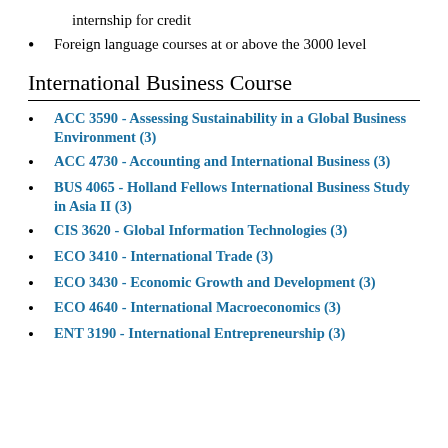internship for credit
Foreign language courses at or above the 3000 level
International Business Course
ACC 3590 - Assessing Sustainability in a Global Business Environment (3)
ACC 4730 - Accounting and International Business (3)
BUS 4065 - Holland Fellows International Business Study in Asia II (3)
CIS 3620 - Global Information Technologies (3)
ECO 3410 - International Trade (3)
ECO 3430 - Economic Growth and Development (3)
ECO 4640 - International Macroeconomics (3)
ENT 3190 - International Entrepreneurship (3)